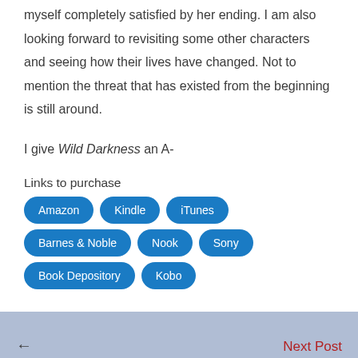myself completely satisfied by her ending. I am also looking forward to revisiting some other characters and seeing how their lives have changed. Not to mention the threat that has existed from the beginning is still around.
I give Wild Darkness an A-
Links to purchase
Amazon
Kindle
iTunes
Barnes & Noble
Nook
Sony
Book Depository
Kobo
← Next Post